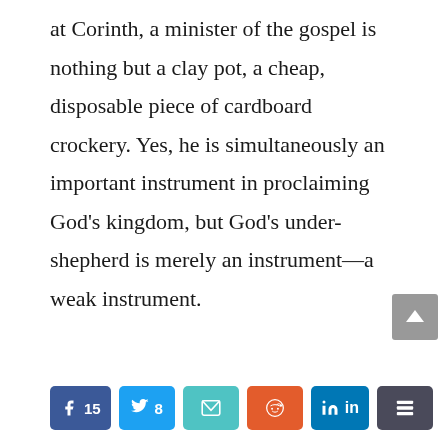at Corinth, a minister of the gospel is nothing but a clay pot, a cheap, disposable piece of cardboard crockery. Yes, he is simultaneously an important instrument in proclaiming God’s kingdom, but God’s under-shepherd is merely an instrument—a weak instrument.
[Figure (infographic): Social share buttons: Facebook (15), Twitter (8), Email, Reddit, LinkedIn, and a stacked-layers more button. A grey scroll-to-top arrow button appears in the upper right.]